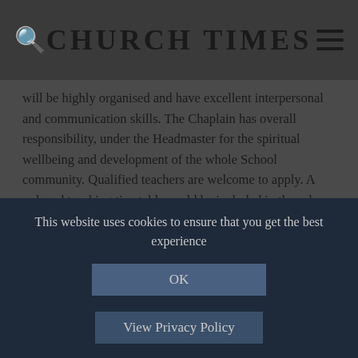CHURCH TIMES
will be highly organised and have excellent interpersonal and communication skills. The Chaplain has overall responsibility, under the Headmaster for the spiritual wellbeing and development of the whole School community. Qualified teachers are welcome to apply. A reduced teaching timetable could be included in the role.
Part Time Incumbent & Priest in Charge
North West
We are a rural benefice south of Manchester.
Find more jobs
This website uses cookies to ensure that you get the best experience
OK
View Privacy Policy